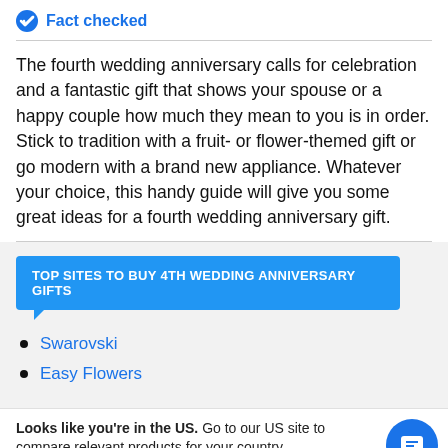Fact checked
The fourth wedding anniversary calls for celebration and a fantastic gift that shows your spouse or a happy couple how much they mean to you is in order. Stick to tradition with a fruit- or flower-themed gift or go modern with a brand new appliance. Whatever your choice, this handy guide will give you some great ideas for a fourth wedding anniversary gift.
TOP SITES TO BUY 4TH WEDDING ANNIVERSARY GIFTS
Swarovski
Easy Flowers
Looks like you're in the US. Go to our US site to compare relevant products for your country.
Go to Finder US
No, stay on this page